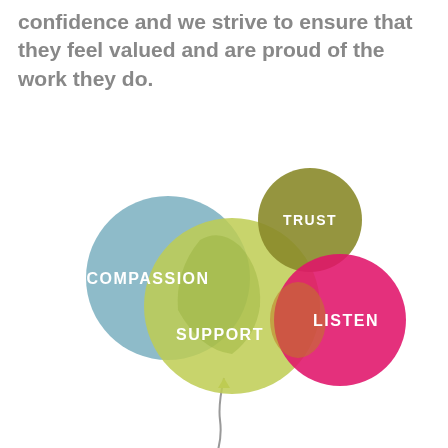confidence and we strive to ensure that they feel valued and are proud of the work they do.
[Figure (infographic): A cluster of overlapping balloon-shaped circles labeled with values: COMPASSION (large blue circle, left), TRUST (small olive/dark yellow circle, top right), SUPPORT (large lime green circle, center), LISTEN (medium pink/magenta circle, right). The balloons are tied together with a string hanging down from the center.]